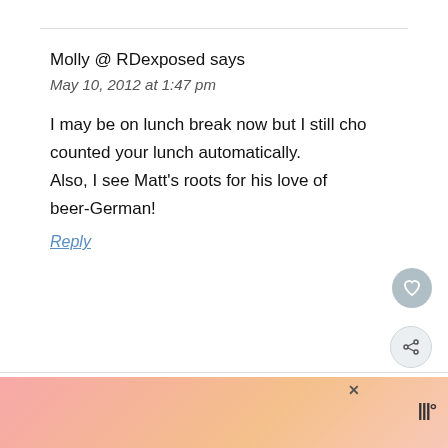Molly @ RDexposed says
May 10, 2012 at 1:47 pm
I may be on lunch break now but I still cho counted your lunch automatically. Also, I see Matt’s roots for his love of beer-German!
Reply
WHAT’S NEXT → Knock On Wood
Actions speak louder than words.